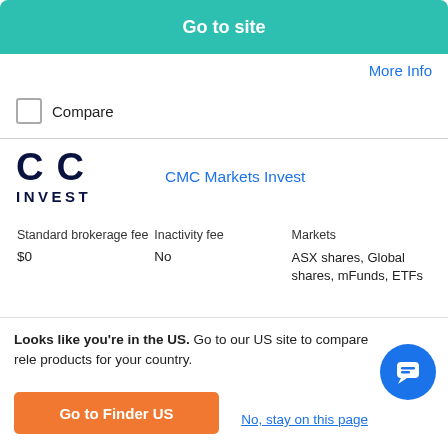[Figure (screenshot): Go to site green button at top]
More Info
Compare
[Figure (logo): CMC Invest logo - dark navy text with stylized CMC lettering and INVEST below]
CMC Markets Invest
| Standard brokerage fee | Inactivity fee | Markets |
| --- | --- | --- |
| $0 | No | ASX shares, Global shares, mFunds, ETFs |
$0 brokerage on global shares including US, UK and Japan markets.
Trade up to 35,000 products, including shares, ETFs and
Looks like you're in the US. Go to our US site to compare rele products for your country.
Go to Finder US
No, stay on this page